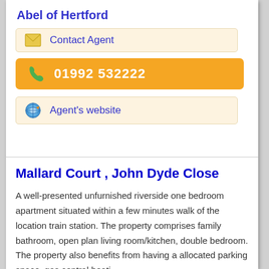Abel of Hertford
Contact Agent
01992 532222
Agent's website
Mallard Court , John Dyde Close
A well-presented unfurnished riverside one bedroom apartment situated within a few minutes walk of the location train station. The property comprises family bathroom, open plan living room/kitchen, double bedroom. The property also benefits from having a allocated parking space, gas central heati...